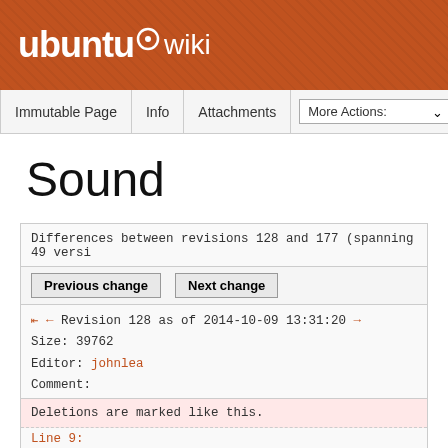ubuntu wiki
Immutable Page  Info  Attachments  More Actions:
Sound
Differences between revisions 128 and 177 (spanning 49 versi
Previous change   Next change
← ← Revision 128 as of 2014-10-09 13:31:20 →
Size: 39762
Editor: johnlea
Comment:
Deletions are marked like this.
Line 9:
== Primary sound output and active output role ==
Line 18: